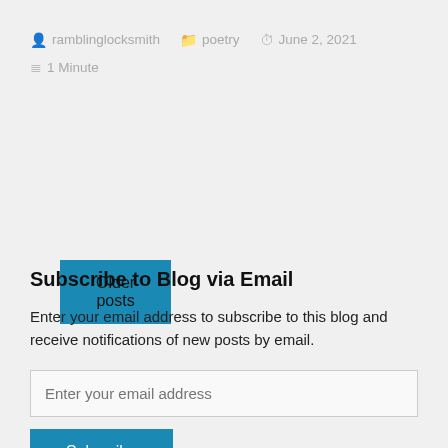ramblinglocksmith   poetry   June 2, 2021
1 Minute
Older posts
Subscribe to Blog via Email
Enter your email address to subscribe to this blog and receive notifications of new posts by email.
Enter your email address
Subscribe